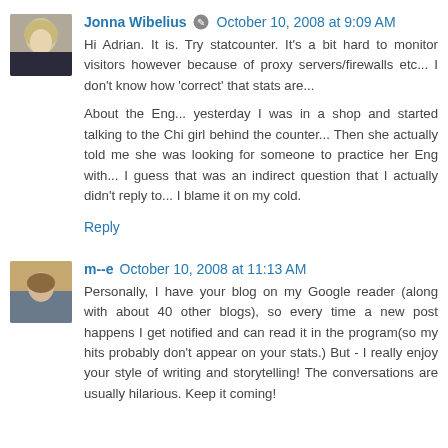[Figure (photo): Profile photo of Jonna Wibelius, blonde woman]
Jonna Wibelius ✏ October 10, 2008 at 9:09 AM
Hi Adrian. It is. Try statcounter. It's a bit hard to monitor visitors however because of proxy servers/firewalls etc... I don't know how 'correct' that stats are...
About the Eng... yesterday I was in a shop and started talking to the Chi girl behind the counter... Then she actually told me she was looking for someone to practice her Eng with... I guess that was an indirect question that I actually didn't reply to... I blame it on my cold.
Reply
[Figure (photo): Profile photo of m--e, woman outdoors]
m--e October 10, 2008 at 11:13 AM
Personally, I have your blog on my Google reader (along with about 40 other blogs), so every time a new post happens I get notified and can read it in the program(so my hits probably don't appear on your stats.) But - I really enjoy your style of writing and storytelling! The conversations are usually hilarious. Keep it coming!